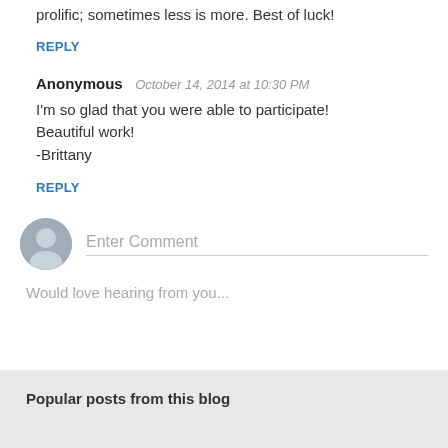prolific; sometimes less is more. Best of luck!
REPLY
Anonymous   October 14, 2014 at 10:30 PM
I'm so glad that you were able to participate! Beautiful work!
-Brittany
REPLY
[Figure (illustration): User avatar circle with silhouette icon]
Enter Comment
Would love hearing from you...
Popular posts from this blog